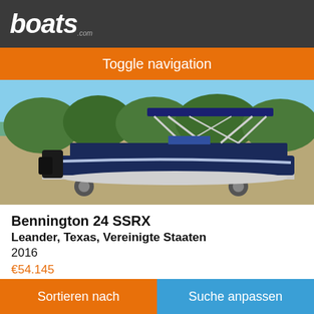boats.com
Toggle navigation
[Figure (photo): A Bennington 24 SSRX pontoon boat with blue canopy on a trailer, parked outdoors with trees in the background.]
Bennington 24 SSRX
Leander, Texas, Vereinigte Staaten
2016
€54.145
Verkäufer Elite Marine Sales & Brokerage
Sortieren nach   Suche anpassen